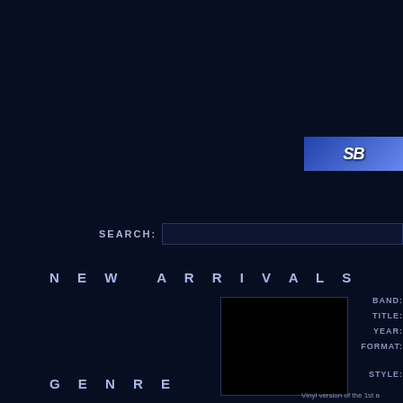[Figure (logo): Blue gradient logo banner in top right corner with stylized text]
SEARCH:
NEW ARRIVALS
[Figure (photo): Black album cover image]
BAND: RUIN
TITLE: Grav
YEAR: 2016
FORMAT: 12" LP
STYLE: [DEAT
GENRE
Vinyl version of the 1st a